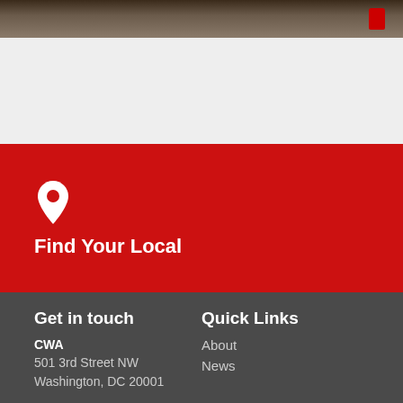[Figure (photo): Partial photo showing dark background with a red Coca-Cola can visible on the right side]
Find Your Local
Get in touch
Quick Links
CWA
501 3rd Street NW
Washington, DC 20001
About
News